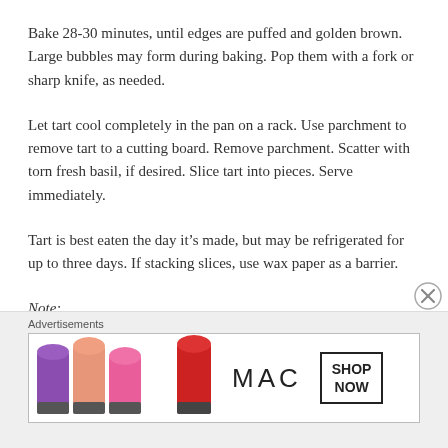Bake 28-30 minutes, until edges are puffed and golden brown. Large bubbles may form during baking. Pop them with a fork or sharp knife, as needed.
Let tart cool completely in the pan on a rack. Use parchment to remove tart to a cutting board. Remove parchment. Scatter with torn fresh basil, if desired. Slice tart into pieces. Serve immediately.
Tart is best eaten the day it’s made, but may be refrigerated for up to three days. If stacking slices, use wax paper as a barrier.
Note:
[Figure (photo): MAC cosmetics advertisement showing colorful lipsticks with MAC logo and SHOP NOW button]